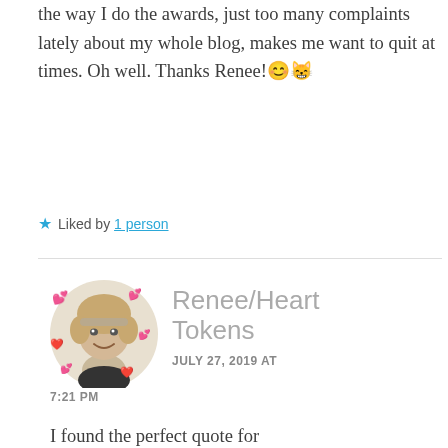the way I do the awards, just too many complaints lately about my whole blog, makes me want to quit at times. Oh well. Thanks Renee!😊😸
★ Liked by 1 person
Renee/Heart Tokens
JULY 27, 2019 AT 7:21 PM
I found the perfect quote for